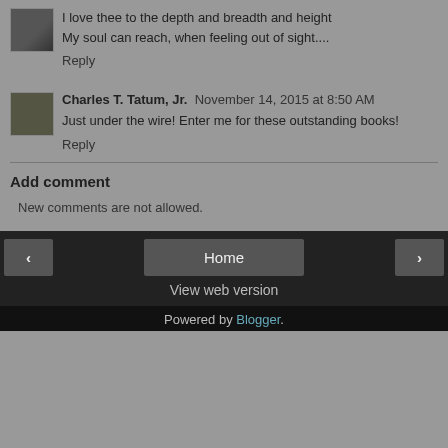I love thee to the depth and breadth and height My soul can reach, when feeling out of sight....
Reply
Charles T. Tatum, Jr.  November 14, 2015 at 8:50 AM
Just under the wire! Enter me for these outstanding books!
Reply
Add comment
New comments are not allowed.
Home  View web version  Powered by Blogger.